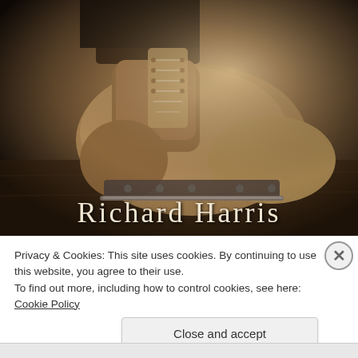[Figure (photo): Sepia-toned close-up photo of a vintage ice hockey skate with leather boot and metal blade, resting on a wooden surface. The image has warm brown and dark tones.]
Richard Harris
Privacy & Cookies: This site uses cookies. By continuing to use this website, you agree to their use.
To find out more, including how to control cookies, see here: Cookie Policy
Close and accept